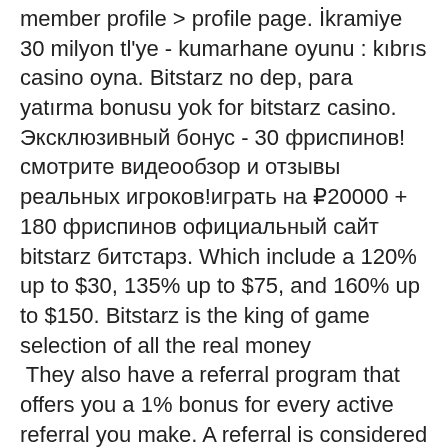member profile > profile page. İkramiye 30 milyon tl'ye - kumarhane oyunu : kıbrıs casino oyna. Bitstarz no dep, para yatırma bonusu yok for bitstarz casino. Эксклюзивный бонус - 30 фриспинов! смотрите видеообзор и отзывы реальных игроков!играть на ₽20000 + 180 фриспинов официальный сайт bitstarz битстарз. Which include a 120% up to $30, 135% up to $75, and 160% up to $150. Bitstarz is the king of game selection of all the real money  They also have a referral program that offers you a 1% bonus for every active referral you make. A referral is considered 'active' if they make at least 1 faucet claim in the past 72 hours. If you love games, you can use that passion to earn free bitcoins. This bitcoin faucet, offer you the chance to accumulate BTC as you play games. FreeBitcoin offers you the opportunity to play